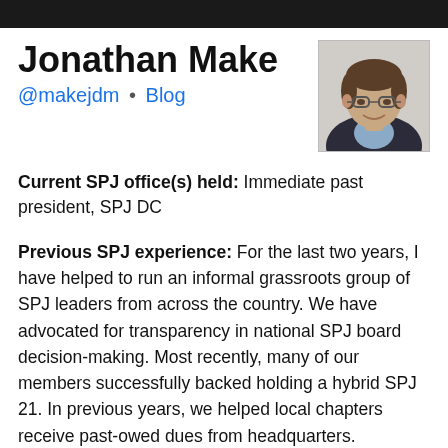[Figure (photo): Dark banner/photo strip at top of page]
Jonathan Make
@makejdm • Blog
[Figure (photo): Headshot of Jonathan Make, a man with glasses and brown hair wearing a dark jacket and light blue shirt, smiling]
Current SPJ office(s) held: Immediate past president, SPJ DC
Previous SPJ experience: For the last two years, I have helped to run an informal grassroots group of SPJ leaders from across the country. We have advocated for transparency in national SPJ board decision-making. Most recently, many of our members successfully backed holding a hybrid SPJ 21. In previous years, we helped local chapters receive past-owed dues from headquarters.